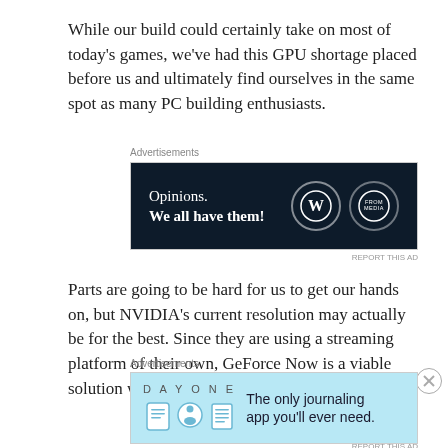While our build could certainly take on most of today's games, we've had this GPU shortage placed before us and ultimately find ourselves in the same spot as many PC building enthusiasts.
[Figure (other): Advertisement banner with dark navy background. Text reads 'Opinions. We all have them!' with WordPress and From Media logos on the right.]
Parts are going to be hard for us to get our hands on, but NVIDIA's current resolution may actually be for the best. Since they are using a streaming platform of their own, GeForce Now is a viable solution when it launches on Mac and Windows
[Figure (other): Advertisement banner for Day One journaling app. Light blue background with icons and text: 'The only journaling app you'll ever need.']